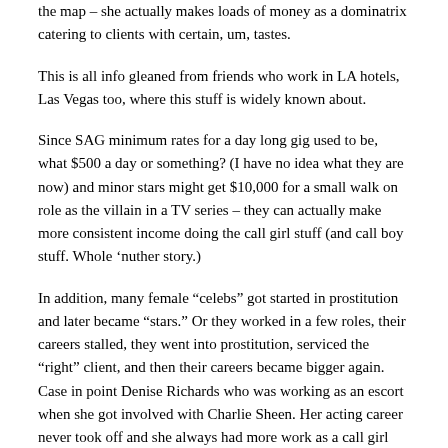the map – she actually makes loads of money as a dominatrix catering to clients with certain, um, tastes.
This is all info gleaned from friends who work in LA hotels, Las Vegas too, where this stuff is widely known about.
Since SAG minimum rates for a day long gig used to be, what $500 a day or something? (I have no idea what they are now) and minor stars might get $10,000 for a small walk on role as the villain in a TV series – they can actually make more consistent income doing the call girl stuff (and call boy stuff. Whole 'nuther story.)
In addition, many female “celebs” got started in prostitution and later became “stars.” Or they worked in a few roles, their careers stalled, they went into prostitution, serviced the “right” client, and then their careers became bigger again. Case in point Denise Richards who was working as an escort when she got involved with Charlie Sheen. Her acting career never took off and she always had more work as a call girl than anything else.